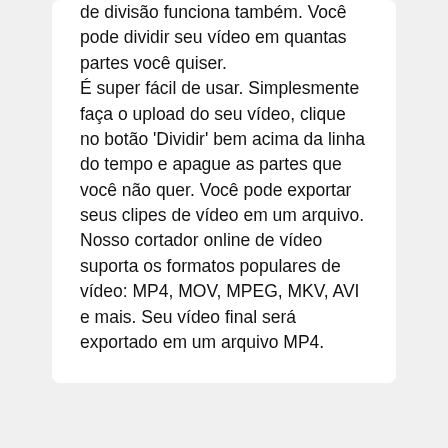de divisão funciona também. Você pode dividir seu vídeo em quantas partes você quiser. É super fácil de usar. Simplesmente faça o upload do seu vídeo, clique no botão 'Dividir' bem acima da linha do tempo e apague as partes que você não quer. Você pode exportar seus clipes de vídeo em um arquivo. Nosso cortador online de vídeo suporta os formatos populares de vídeo: MP4, MOV, MPEG, MKV, AVI e mais. Seu vídeo final será exportado em um arquivo MP4.